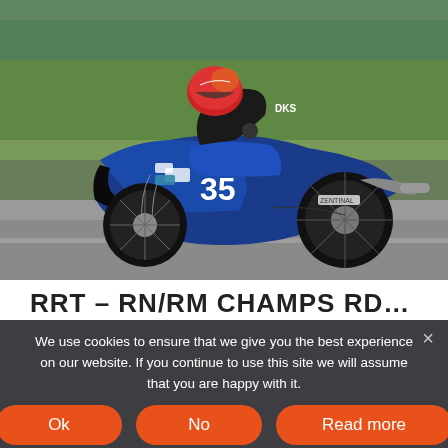[Figure (photo): A blue racing motorcycle with number 35 leaning into a corner on a race track. The rider wears black leathers and a red and white helmet. The background shows green grass and a blurred track surface.]
RRT – RN/RM CHAMPS RD7 – ANGLESEY
We use cookies to ensure that we give you the best experience on our website. If you continue to use this site we will assume that you are happy with it.